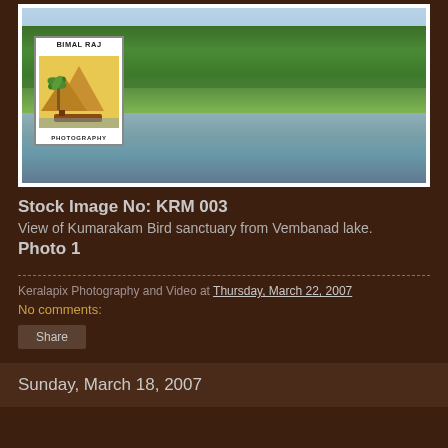[Figure (photo): View of Kumarakam Bird sanctuary from Vembanad lake, showing lush green trees and vegetation along the riverbank with water in foreground. A Bimal Raj Photography logo/watermark is visible in the lower left of the image.]
Stock Image No: KRM 003
View of Kumarakam Bird sanctuary from Vembanad lake.
Photo 1
Keralapix Photography and Video at Thursday, March 22, 2007
No comments:
Share
Sunday, March 18, 2007